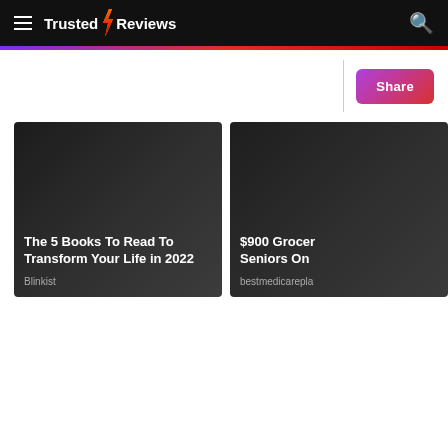Trusted Reviews
[Figure (screenshot): Ad card: The 5 Books To Read To Transform Your Life in 2022 — Blinkist]
[Figure (screenshot): Ad card: $900 Grocery Benefit For Seniors On Medicare — bestmedicarepla...]
Share